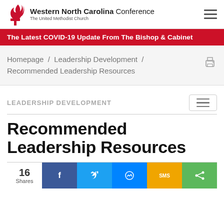Western North Carolina Conference The United Methodist Church
The Latest COVID-19 Update From The Bishop & Cabinet
Homepage / Leadership Development / Recommended Leadership Resources
LEADERSHIP DEVELOPMENT
Recommended Leadership Resources
16 Shares